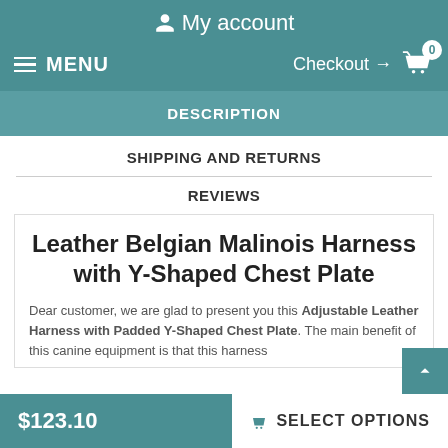My account
MENU   Checkout → 0
DESCRIPTION
SHIPPING AND RETURNS
REVIEWS
Leather Belgian Malinois Harness with Y-Shaped Chest Plate
Dear customer, we are glad to present you this Adjustable Leather Harness with Padded Y-Shaped Chest Plate. The main benefit of this canine equipment is that this harness
$123.10   SELECT OPTIONS